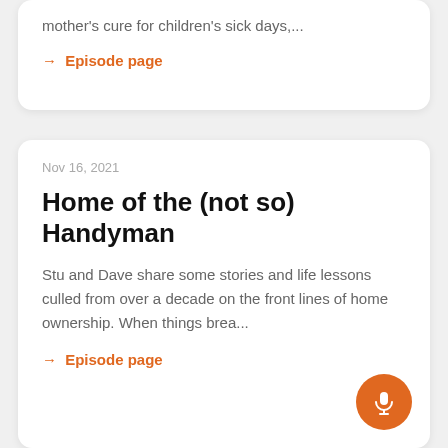mother's cure for children's sick days,...
→ Episode page
Nov 16, 2021
Home of the (not so) Handyman
Stu and Dave share some stories and life lessons culled from over a decade on the front lines of home ownership. When things brea...
→ Episode page